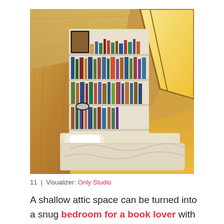[Figure (photo): Interior photo of a cozy attic bedroom with sloped wooden ceiling panels, a low floor-level mattress with white bedding, bookshelves filled with colorful books along the back wall, and a skylight window letting in warm light.]
11 |  Visualizer: Only Studio
A shallow attic space can be turned into a snug bedroom for a book lover with a few custom-cut wall shelves and a simple floor